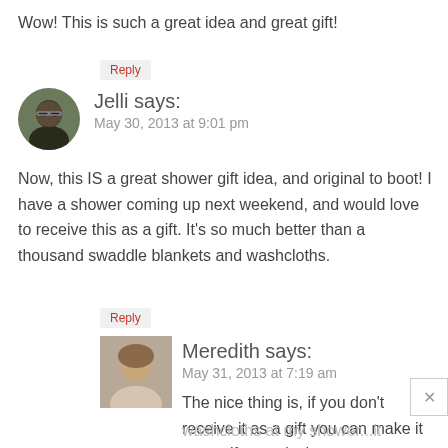Wow! This is such a great idea and great gift!
Reply
[Figure (photo): Circular avatar photo of Jelli, a woman with dark hair and glasses]
Jelli says:
May 30, 2013 at 9:01 pm
Now, this IS a great shower gift idea, and original to boot! I have a shower coming up next weekend, and would love to receive this as a gift. It's so much better than a thousand swaddle blankets and washcloths.
Reply
[Figure (photo): Rectangular avatar photo of Meredith, a woman with brown hair]
Meredith says:
May 31, 2013 at 7:19 am
The nice thing is, if you don't receive it as a gift you can make it yourself, exactly the way you want it ;-) (And I got SO many
washcloths at my shower...it wasn't even funny! I mean, really people! Haha.)